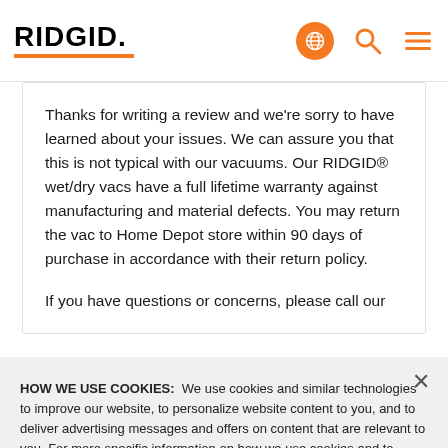RIDGID
Thanks for writing a review and we're sorry to have learned about your issues. We can assure you that this is not typical with our vacuums. Our RIDGID® wet/dry vacs have a full lifetime warranty against manufacturing and material defects. You may return the vac to Home Depot store within 90 days of purchase in accordance with their return policy.

If you have questions or concerns, please call our
HOW WE USE COOKIES: We use cookies and similar technologies to improve our website, to personalize website content to you, and to deliver advertising messages and offers on content that are relevant to you. For more specific information on how we use cookies and to change your cookie preferences, see our Cookie Notice. Understand and don't want to see this message again? Click the X to close this notice.